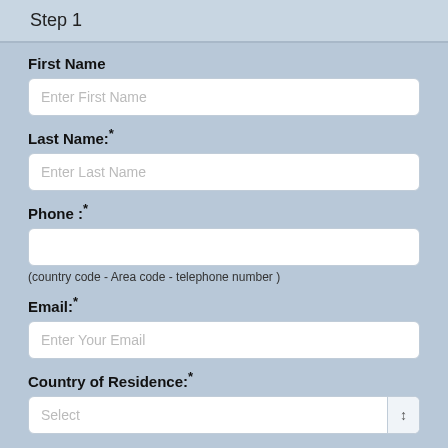Step 1
First Name
Enter First Name
Last Name:*
Enter Last Name
Phone :*
(country code - Area code - telephone number )
Email:*
Enter Your Email
Country of Residence:*
Select